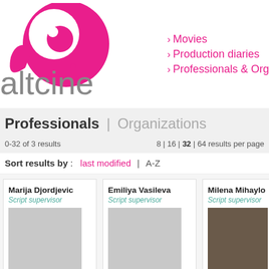[Figure (logo): altcine logo: pink/magenta teardrop snail shell shape with white dot, next to grey lowercase text 'altcine']
> Movies
> Production diaries
> Professionals & Orga...
Professionals | Organizations
0-32 of 3 results
8 | 16 | 32 | 64 results per page
Sort results by : last modified | A-Z
Marija Djordjevic
Script supervisor
Emiliya Vasileva
Script supervisor
Milena Mihaylo...
Script supervisor